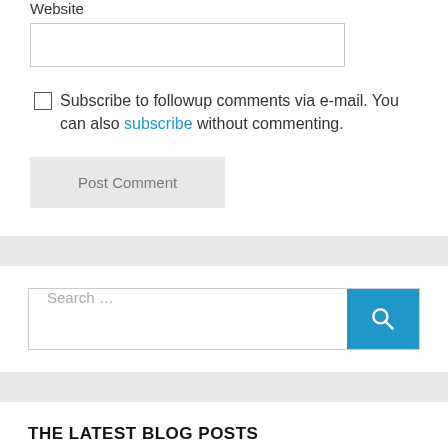Website
Subscribe to followup comments via e-mail. You can also subscribe without commenting.
Post Comment
Search …
THE LATEST BLOG POSTS
Parsley, Sage, Rosemary and...
A Reminder: The Benefits of the Chabot of California...